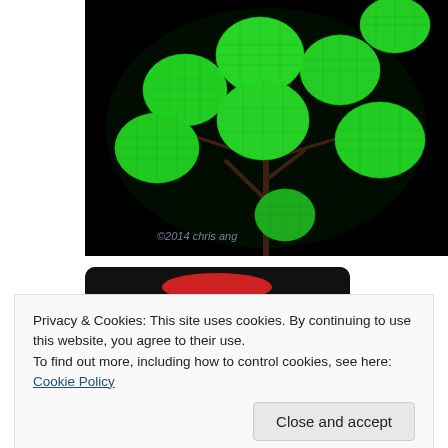[Figure (photo): Close-up photograph of bright green glowing plant leaves/succulents with visible vein patterns against a black background. Watermark reads '©2014 chris ang' in bottom-left corner.]
[Figure (photo): Partial view of a dark-background image with a red element visible, appears to be another plant photograph partially obscured by the cookie banner.]
Privacy & Cookies: This site uses cookies. By continuing to use this website, you agree to their use.
To find out more, including how to control cookies, see here: Cookie Policy
[Figure (photo): Partial view of another green glowing plant photograph against black background, visible at bottom of page.]